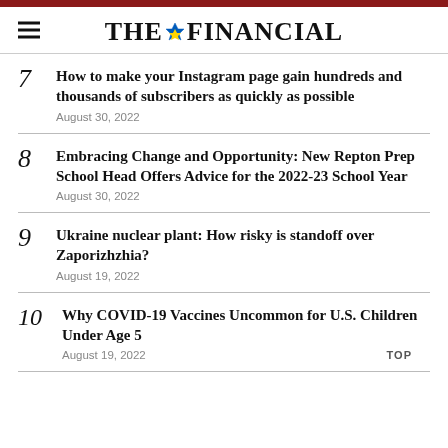THE FINANCIAL
7 How to make your Instagram page gain hundreds and thousands of subscribers as quickly as possible
August 30, 2022
8 Embracing Change and Opportunity: New Repton Prep School Head Offers Advice for the 2022-23 School Year
August 30, 2022
9 Ukraine nuclear plant: How risky is standoff over Zaporizhzhia?
August 19, 2022
10 Why COVID-19 Vaccines Uncommon for U.S. Children Under Age 5
August 19, 2022